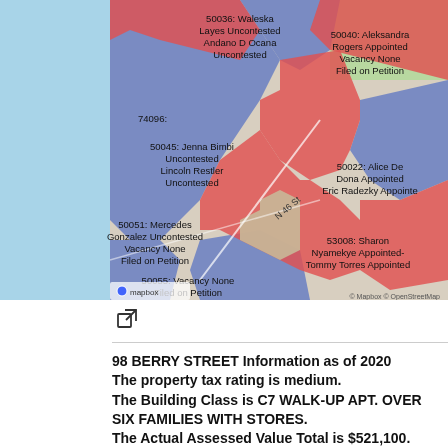[Figure (map): Street map of a Brooklyn neighborhood showing election district boundaries colored in blue and red/pink. Labels include district numbers and candidates: 50036 Waleska Layes Uncontested / Andano D Ocana Uncontested; 50040 Aleksandra Rogers Appointed Vacancy None Filed on Petition; 74096; 50045 Jenna Bimbi Uncontested / Lincoln Restler Uncontested; 50022 Alice De Dona Appointed / Eric Radezky Appointed; 50051 Mercedes Gonzalez Uncontested Vacancy None Filed on Petition; 53008 Sharon Nyamekye Appointed- Tommy Torres Appointed; 50055 Vacancy None Filed on Petition. Map attribution: Mapbox, OpenStreetMap.]
98 BERRY STREET Information as of 2020
The property tax rating is medium.
The Building Class is C7 WALK-UP APT. OVER SIX FAMILIES WITH STORES.
The Actual Assessed Value Total is $521,100.
The N.Y. State Law mandates that we value all Class 2 properties as income producing, based on their income and expenses. This means that when you see the Market Value